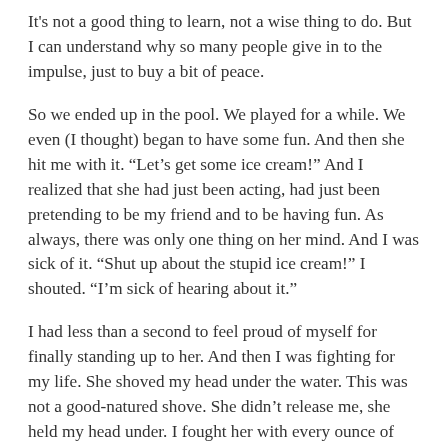It's not a good thing to learn, not a wise thing to do. But I can understand why so many people give in to the impulse, just to buy a bit of peace.
So we ended up in the pool. We played for a while. We even (I thought) began to have some fun. And then she hit me with it. “Let’s get some ice cream!” And I realized that she had just been acting, had just been pretending to be my friend and to be having fun. As always, there was only one thing on her mind. And I was sick of it. “Shut up about the stupid ice cream!” I shouted. “I’m sick of hearing about it.”
I had less than a second to feel proud of myself for finally standing up to her. And then I was fighting for my life. She shoved my head under the water. This was not a good-natured shove. She didn’t release me, she held my head under. I fought her with every ounce of strength I had, and I managed to get my head up for a second, just long enough to gasp one gulp of air and to see the look on her face.